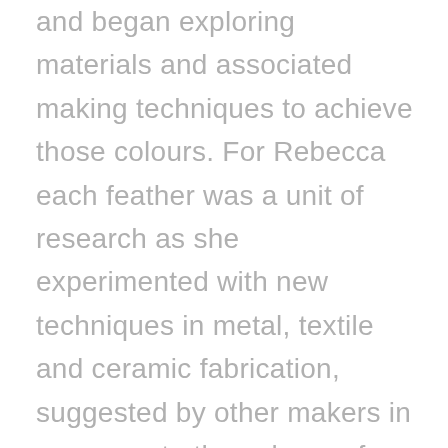and began exploring materials and associated making techniques to achieve those colours. For Rebecca each feather was a unit of research as she experimented with new techniques in metal, textile and ceramic fabrication, suggested by other makers in response to the colours of Scotland. Rebecca uses laser cutting and 3D printing techniques in her work and combines these with traditional hand making methods, giving great range and flexibility to her practice.